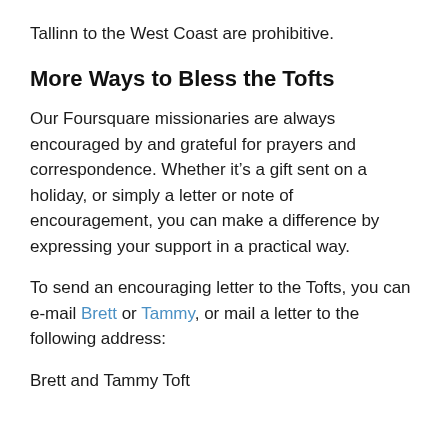Tallinn to the West Coast are prohibitive.
More Ways to Bless the Tofts
Our Foursquare missionaries are always encouraged by and grateful for prayers and correspondence. Whether it’s a gift sent on a holiday, or simply a letter or note of encouragement, you can make a difference by expressing your support in a practical way.
To send an encouraging letter to the Tofts, you can e-mail Brett or Tammy, or mail a letter to the following address:
Brett and Tammy Toft